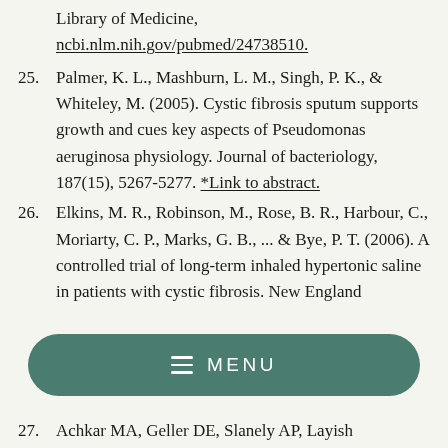Library of Medicine, ncbi.nlm.nih.gov/pubmed/24738510.
25. Palmer, K. L., Mashburn, L. M., Singh, P. K., & Whiteley, M. (2005). Cystic fibrosis sputum supports growth and cues key aspects of Pseudomonas aeruginosa physiology. Journal of bacteriology, 187(15), 5267-5277. *Link to abstract.
26. Elkins, M. R., Robinson, M., Rose, B. R., Harbour, C., Moriarty, C. P., Marks, G. B., ... & Bye, P. T. (2006). A controlled trial of long-term inhaled hypertonic saline in patients with cystic fibrosis. New England
27. Achkar MA, Geller DE, Slanely AP, Layish